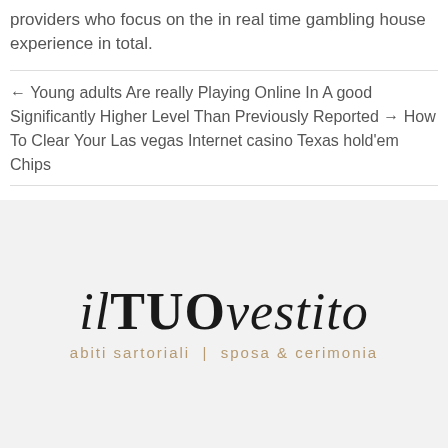providers who focus on the in real time gambling house experience in total.
← Young adults Are really Playing Online In A good Significantly Higher Level Than Previously Reported → How To Clear Your Las vegas Internet casino Texas hold'em Chips
[Figure (logo): il TUO vestito logo with italic 'il', bold 'TUO', italic 'vestito', and subtitle 'abiti sartoriali | sposa & cerimonia' in gold/tan color]
Site Navigation